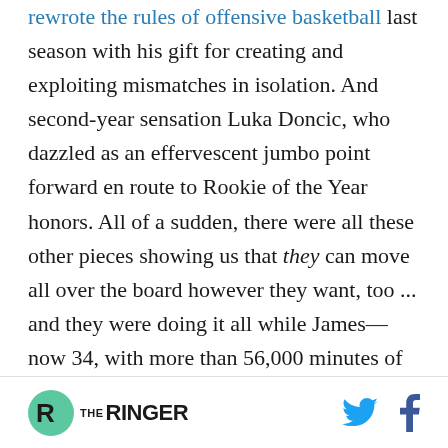rewrote the rules of offensive basketball last season with his gift for creating and exploiting mismatches in isolation. And second-year sensation Luka Doncic, who dazzled as an effervescent jumbo point forward en route to Rookie of the Year honors. All of a sudden, there were all these other pieces showing us that they can move all over the board however they want, too ... and they were doing it all while James—now 34, with more than 56,000 minutes of NBA wear-and-tear on his body—suffered the first serious injury of his NBA career and missed the postseason for the first time since 2006
THE RINGER [logo] [Twitter icon] [Facebook icon]